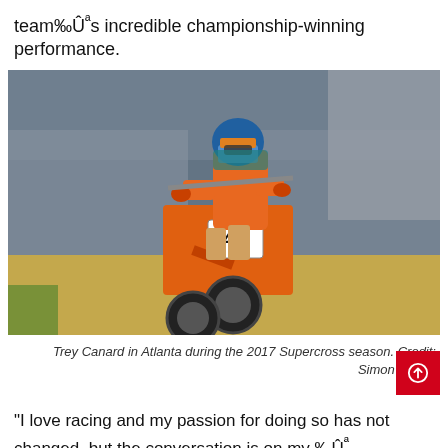team%‰Ûªs incredible championship-winning performance.
[Figure (photo): Motocross rider Trey Canard (#41) on an orange KTM motorcycle airborne during the 2017 Supercross season in Atlanta, with a stadium crowd in the background.]
Trey Canard in Atlanta during the 2017 Supercross season. Credit: Simon Cudby
"I love racing and my passion for doing so has not changed, but the conversation is on my ‰Ûª